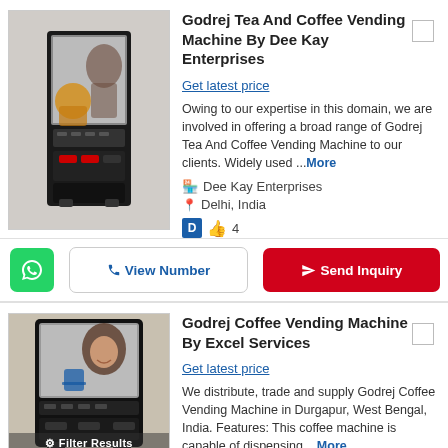[Figure (photo): Godrej tea and coffee vending machine product image]
Godrej Tea And Coffee Vending Machine By Dee Kay Enterprises
Get latest price
Owing to our expertise in this domain, we are involved in offering a broad range of Godrej Tea And Coffee Vending Machine to our clients. Widely used ...More
Dee Kay Enterprises
Delhi, India
D 👍 4
[Figure (photo): Godrej coffee vending machine product image - second listing]
Godrej Coffee Vending Machine By Excel Services
Get latest price
We distribute, trade and supply Godrej Coffee Vending Machine in Durgapur, West Bengal, India. Features: This coffee machine is capable of dispensing ...More